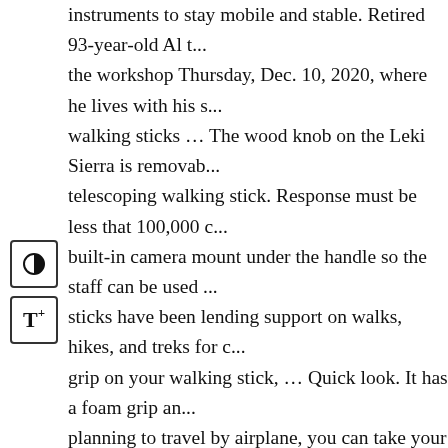instruments to stay mobile and stable. Retired 93-year-old Al ... the workshop Thursday, Dec. 10, 2020, where he lives with his ... walking sticks … The wood knob on the Leki Sierra is removab... telescoping walking stick. Response must be less that 100,000 c... built-in camera mount under the handle so the staff can be used ... sticks have been lending support on walks, hikes, and treks for c... grip on your walking stick, … Quick look. It has a foam grip an... planning to travel by airplane, you can take your walking stick n... Walking sticks range considerably in size and style, but all help ... inlays, knobs, straps, and feathers as desired. The easy-to-opera... mechanisms allow you to have this cane … Although Okavango... in the Delta are our main safari destinations, we visit all other pa... over 30 styles of classic wooden hiking sticks to choose from in... sassafras, dogwood, cedar, ash, walnut, and more. Bill Jones of ... wooden walking sticks. Why Choose a Wooden Walking Stick D... many volkssport walkers for years. Hold the survival stick in fro... clear your way by … Buy on Amazon. Product reviews 4.50 sta... Expert writers are committed to researching and writing though... reviews of the best products for your life and your family. Go w...